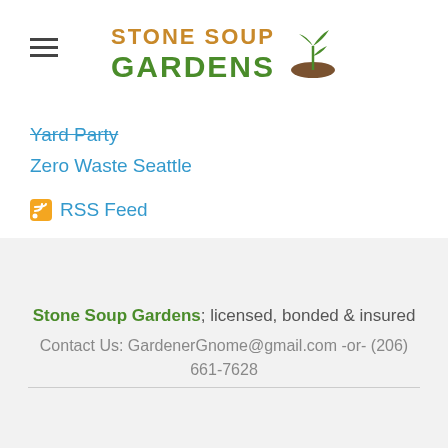Stone Soup Gardens
Yard Party
Zero Waste Seattle
RSS Feed
Stone Soup Gardens; licensed, bonded & insured
Contact Us: GardenerGnome@gmail.com -or- (206) 661-7628